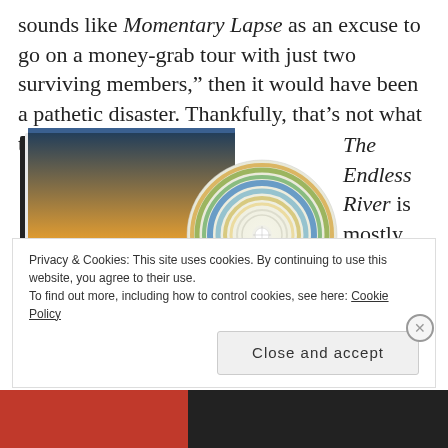sounds like Momentary Lapse as an excuse to go on a money-grab tour with just two surviving members,” then it would have been a pathetic disaster. Thankfully, that’s not what this is…
[Figure (photo): Pink Floyd The Endless River album booklet and CD disc]
The Endless River is mostly
Privacy & Cookies: This site uses cookies. By continuing to use this website, you agree to their use.
To find out more, including how to control cookies, see here: Cookie Policy
Close and accept